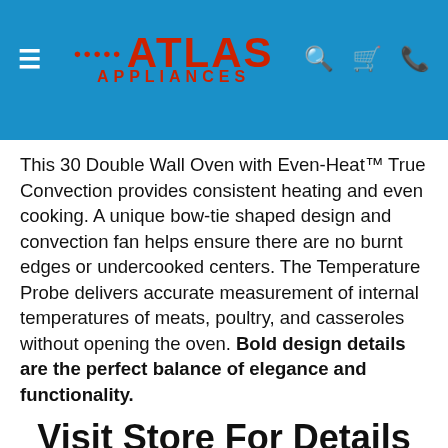[Figure (logo): Atlas Appliances logo with navigation header on blue background, hamburger menu icon on left, search, cart, and phone icons on right]
This 30 Double Wall Oven with Even-Heat™ True Convection provides consistent heating and even cooking. A unique bow-tie shaped design and convection fan helps ensure there are no burnt edges or undercooked centers. The Temperature Probe delivers accurate measurement of internal temperatures of meats, poultry, and casseroles without opening the oven. Bold design details are the perfect balance of elegance and functionality.
Visit Store For Details
$6,099.99
$6,999.99  Save $900.00